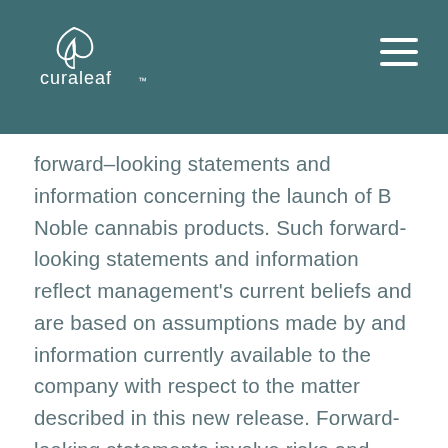Curaleaf logo and navigation menu
forward–looking statements and information concerning the launch of B Noble cannabis products. Such forward-looking statements and information reflect management's current beliefs and are based on assumptions made by and information currently available to the company with respect to the matter described in this new release. Forward-looking statements involve risks and uncertainties, which are based on current expectations as of the date of